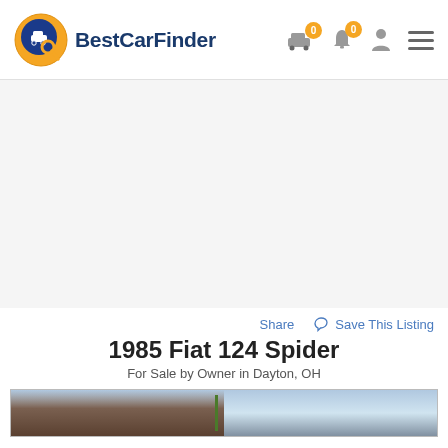BestCarFinder
[Figure (other): Large advertisement/blank area below header]
Share   Save This Listing
1985 Fiat 124 Spider
For Sale by Owner in Dayton, OH
[Figure (photo): Partial photo of a car listing, showing the top of a vehicle against a sky background]